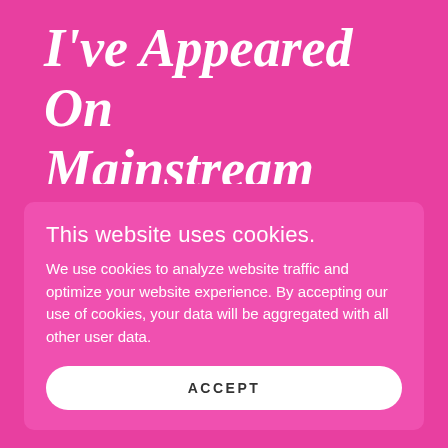I've Appeared On Mainstream Television & Did Mainstream Plus Size Run Way
This website uses cookies.
We use cookies to analyze website traffic and optimize your website experience. By accepting our use of cookies, your data will be aggregated with all other user data.
ACCEPT